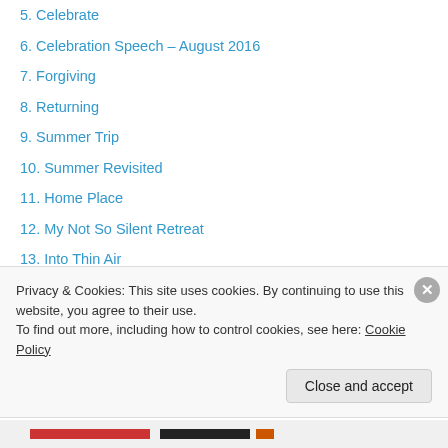5. Celebrate
6. Celebration Speech – August 2016
7. Forgiving
8. Returning
9. Summer Trip
10. Summer Revisited
11. Home Place
12. My Not So Silent Retreat
13. Into Thin Air
14. Rocking
15. Good or Bad
16. Reflections
17. In a Nickname
18. Moments in Time
Privacy & Cookies: This site uses cookies. By continuing to use this website, you agree to their use. To find out more, including how to control cookies, see here: Cookie Policy
Close and accept